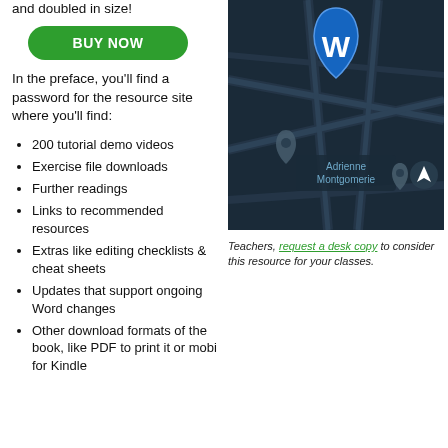and doubled in size!
[Figure (other): Green 'BUY NOW' button]
In the preface, you'll find a password for the resource site where you'll find:
200 tutorial demo videos
Exercise file downloads
Further readings
Links to recommended resources
Extras like editing checklists & cheat sheets
Updates that support ongoing Word changes
Other download formats of the book, like PDF to print it or mobi for Kindle
[Figure (map): Dark map with location pin showing 'W' (Word icon) and another pin labeled 'Adrienne Montgomerie', with navigation arrow icon]
Teachers, request a desk copy to consider this resource for your classes.